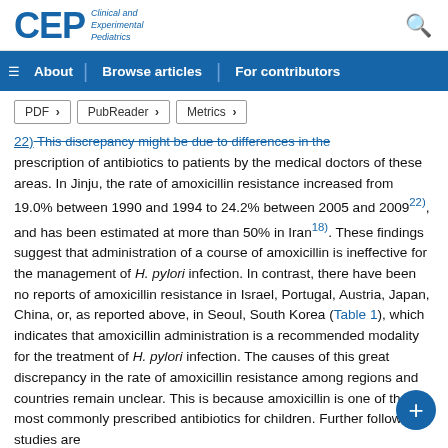CEP Clinical and Experimental Pediatrics
About | Browse articles | For contributors
PDF > PubReader > Metrics >
22), This discrepancy might be due to differences in the prescription of antibiotics to patients by the medical doctors of these areas. In Jinju, the rate of amoxicillin resistance increased from 19.0% between 1990 and 1994 to 24.2% between 2005 and 2009²²⁾, and has been estimated at more than 50% in Iran¹⁸⁾. These findings suggest that administration of a course of amoxicillin is ineffective for the management of H. pylori infection. In contrast, there have been no reports of amoxicillin resistance in Israel, Portugal, Austria, Japan, China, or, as reported above, in Seoul, South Korea (Table 1), which indicates that amoxicillin administration is a recommended modality for the treatment of H. pylori infection. The causes of this great discrepancy in the rate of amoxicillin resistance among regions and countries remain unclear. This is because amoxicillin is one of the most commonly prescribed antibiotics for children. Further follow-up studies are